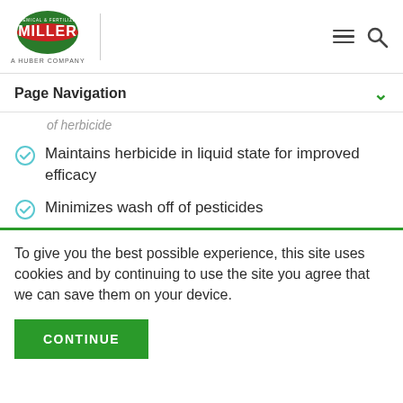[Figure (logo): Miller Chemical logo - green oval with white MILLER text and red stripe, with 'A HUBER COMPANY' text below]
Page Navigation
of herbicide
Maintains herbicide in liquid state for improved efficacy
Minimizes wash off of pesticides
To give you the best possible experience, this site uses cookies and by continuing to use the site you agree that we can save them on your device.
CONTINUE